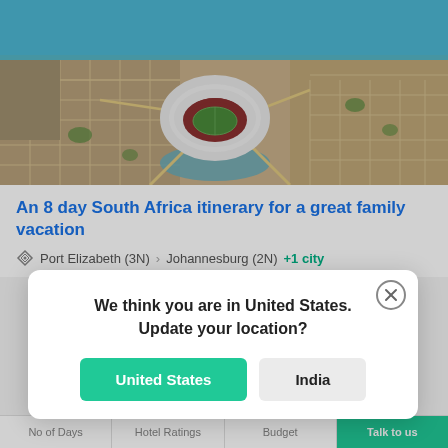[Figure (photo): Aerial view of a city with a stadium (Nelson Mandela Bay Stadium) near the coast, showing urban layout, roads, and ocean in the background — Port Elizabeth, South Africa.]
An 8 day South Africa itinerary for a great family vacation
Port Elizabeth (3N) › Johannesburg (2N) +1 city
We think you are in United States.
Update your location?
United States
India
No of Days | Hotel Ratings | Budget | Talk to us